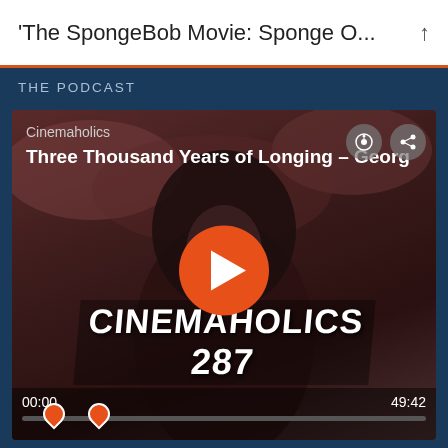'The SpongeBob Movie: Sponge O...
THE PODCAST
[Figure (screenshot): Podcast player card for Cinemaholics episode 'Three Thousand Years of Longing – Georg' showing a dark reddish background with a hooded figure, orange play button, CINEMAHOLICS 287 branding, timestamp 00:00 / 49:42, and progress bar with bookmark markers.]